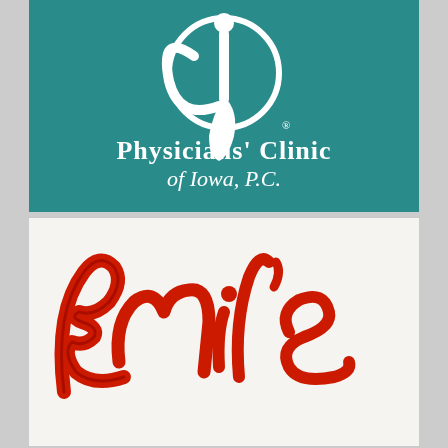[Figure (logo): Physicians' Clinic of Iowa, P.C. logo — white abstract figure/stethoscope symbol on teal background with text 'Physicians' Clinic of Iowa, P.C.']
[Figure (logo): Emil's logo — red cursive script lettering on white/light background]